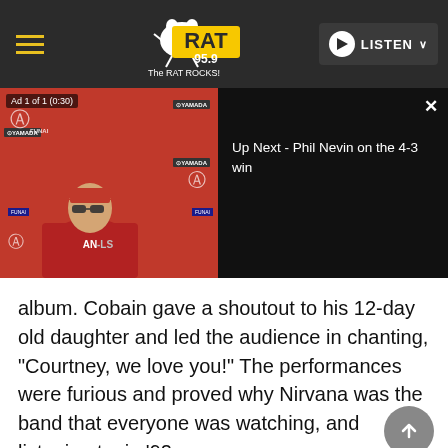[Figure (screenshot): Website navigation bar for WRAT 95.9 The RAT ROCKS radio station with hamburger menu, logo, and LISTEN button]
[Figure (screenshot): Video player showing ad with baseball Angels manager press conference on left, and 'Up Next - Phil Nevin on the 4-3 win' text on black right panel with X close button]
album. Cobain gave a shoutout to his 12-day old daughter and led the audience in chanting, “Courtney, we love you!” The performances were furious and proved why Nirvana was the band that everyone was watching, and listening to, in ’92.
[Figure (photo): Bottom portion of page showing a partially visible image with 'TALKING' text overlay on dark bar]